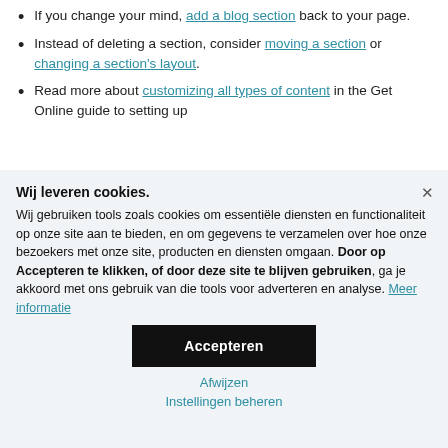If you change your mind, add a blog section back to your page.
Instead of deleting a section, consider moving a section or changing a section's layout.
Read more about customizing all types of content in the Get Online guide to setting up
Wij leveren cookies. Wij gebruiken tools zoals cookies om essentiële diensten en functionaliteit op onze site aan te bieden, en om gegevens te verzamelen over hoe onze bezoekers met onze site, producten en diensten omgaan. Door op Accepteren te klikken, of door deze site te blijven gebruiken, ga je akkoord met ons gebruik van die tools voor adverteren en analyse. Meer informatie
Accepteren
Afwijzen
Instellingen beheren